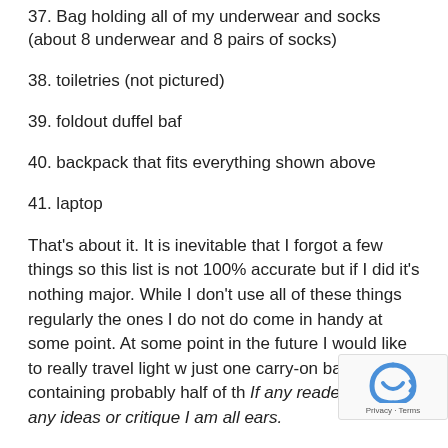37. Bag holding all of my underwear and socks (about 8 underwear and 8 pairs of socks)
38. toiletries (not pictured)
39. foldout duffel baf
40. backpack that fits everything shown above
41. laptop
That's about it. It is inevitable that I forgot a few things so this list is not 100% accurate but if I did it's nothing major. While I don't use all of these things regularly the ones I do not do come in handy at some point. At some point in the future I would like to really travel light w just one carry-on bag containing probably half of th If any readers have any ideas or critique I am all ears.